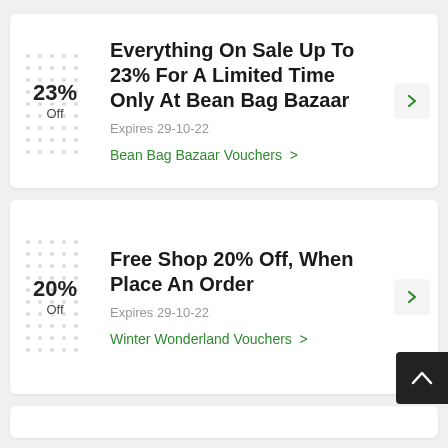[Figure (screenshot): Coupon card 1: 23% Off - Everything On Sale Up To 23% For A Limited Time Only At Bean Bag Bazaar, Expires 29-10-22, Bean Bag Bazaar Vouchers link]
[Figure (screenshot): Coupon card 2: 20% Off - Free Shop 20% Off, When Place An Order, Expires 29-10-22, Winter Wonderland Vouchers link]
[Figure (screenshot): Partial coupon card 3 at bottom, partially visible]